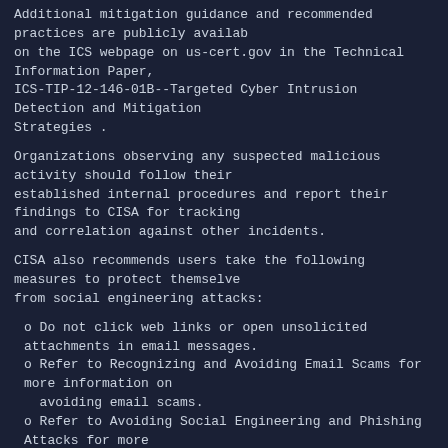Additional mitigation guidance and recommended practices are publicly available on the ICS webpage on us-cert.gov in the Technical Information Paper, ICS-TIP-12-146-01B--Targeted Cyber Intrusion Detection and Mitigation Strategies .
Organizations observing any suspected malicious activity should follow their established internal procedures and report their findings to CISA for tracking and correlation against other incidents.
CISA also recommends users take the following measures to protect themselves from social engineering attacks:
o Do not click web links or open unsolicited attachments in email messages.
o Refer to Recognizing and Avoiding Email Scams for more information on avoiding email scams.
o Refer to Avoiding Social Engineering and Phishing Attacks for more information on social engineering attacks.
No known public exploits specifically target this vulnerability.
- ----------------------------END INCLUDED TEXT-----------------------
You have received this e-mail bulletin as a result of your organisation's registration with AusCERT. The mailing list you are subscribed to is maintained within your organisation, so if you do not wish to continue receiving these bulletins you should contact your local IT manager. If you do not know who that is, please send an email to auscert@auscert.org.au and we will forward your request to the appropriate person.
NOTE: Third Party Rights
This security bulletin is provided as a service to AusCERT's members. As